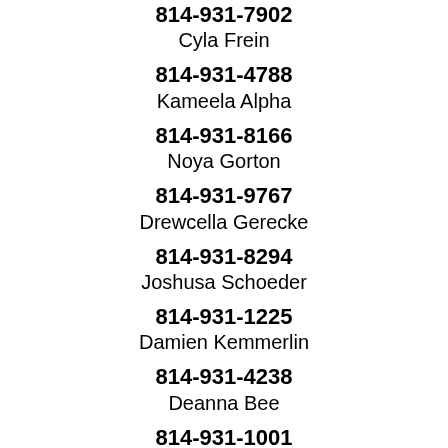814-931-7902
Cyla Frein
814-931-4788
Kameela Alpha
814-931-8166
Noya Gorton
814-931-9767
Drewcella Gerecke
814-931-8294
Joshusa Schoeder
814-931-1225
Damien Kemmerlin
814-931-4238
Deanna Bee
814-931-1001
Halime Fousek
814-931-1088
Cornelya Pusateri